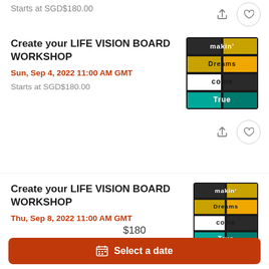Starts at SGD$180.00
[Figure (screenshot): Workshop event card 1: Create your LIFE VISION BOARD WORKSHOP, Sun, Sep 4, 2022 11:00 AM GMT, Starts at SGD$180.00, with a colorful 'making dreams come true' image]
[Figure (screenshot): Workshop event card 2: Create your LIFE VISION BOARD WORKSHOP, Thu, Sep 8, 2022 11:00 AM GMT, with same colorful image]
$180
Select a date